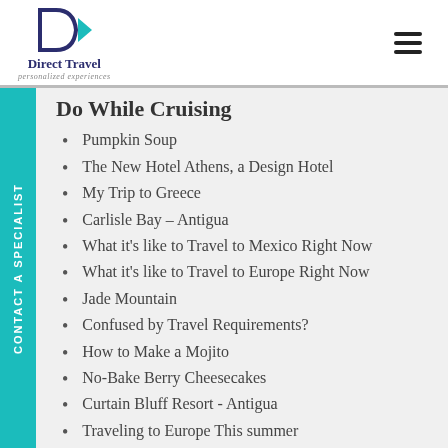Direct Travel personalized experiences
Do While Cruising
Pumpkin Soup
The New Hotel Athens, a Design Hotel
My Trip to Greece
Carlisle Bay – Antigua
What it's like to Travel to Mexico Right Now
What it's like to Travel to Europe Right Now
Jade Mountain
Confused by Travel Requirements?
How to Make a Mojito
No-Bake Berry Cheesecakes
Curtain Bluff Resort - Antigua
Traveling to Europe This summer
Best Beach Resorts in the Caribbean